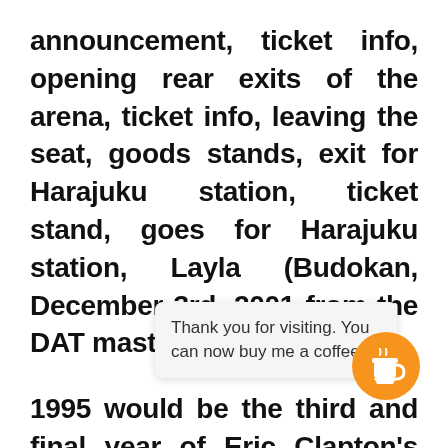announcement, ticket info, opening rear exits of the arena, ticket info, leaving the seat, goods stands, exit for Harajuku station, ticket stand, goes for Harajuku station, Layla (Budokan, December 3rd, 2001 from the DAT master)
1995 would be the third and final year of Eric Clapton's touring blues revue across the world. Blues All Day Long on Tarantura with the October 5th show is the fourth ... i Olympic Pool in ... di... pressed on East Blues Night: Live In Japan
Thank you for visiting. You can now buy me a coffee!